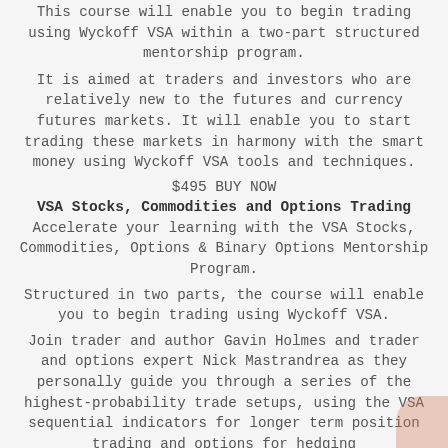This course will enable you to begin trading using Wyckoff VSA within a two-part structured mentorship program.
It is aimed at traders and investors who are relatively new to the futures and currency futures markets. It will enable you to start trading these markets in harmony with the smart money using Wyckoff VSA tools and techniques.
$495 BUY NOW
VSA Stocks, Commodities and Options Trading
Accelerate your learning with the VSA Stocks, Commodities, Options & Binary Options Mentorship Program.
Structured in two parts, the course will enable you to begin trading using Wyckoff VSA.
Join trader and author Gavin Holmes and trader and options expert Nick Mastrandrea as they personally guide you through a series of the highest-probability trade setups, using the VSA sequential indicators for longer term position trading and options for hedging